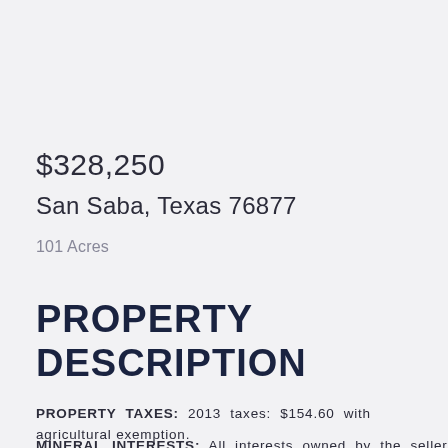$328,250
San Saba, Texas 76877
101 Acres
PROPERTY DESCRIPTION
PROPERTY TAXES: 2013 taxes: $154.60 with agricultural exemption.
MINERAL INTERESTS: All interests owned by the seller